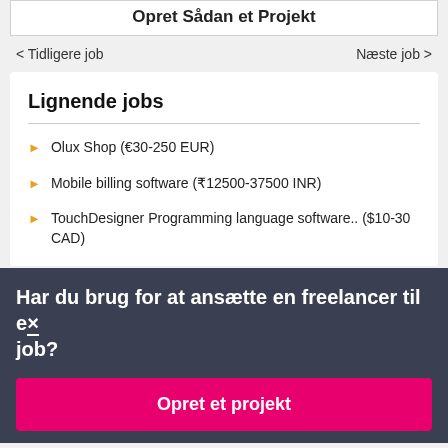Opret Sådan et Projekt
< Tidligere job
Næste job >
Lignende jobs
Olux Shop (€30-250 EUR)
Mobile billing software (₹12500-37500 INR)
TouchDesigner Programming language software.. ($10-30 CAD)
Har du brug for at ansætte en freelancer til et job?
Opret et projekt